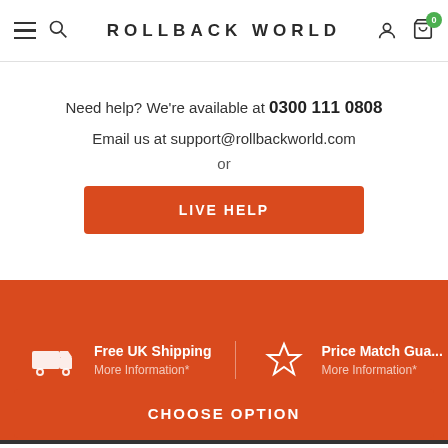ROLLBACK WORLD
Need help? We're available at 0300 111 0808
Email us at support@rollbackworld.com
or
LIVE HELP
Free UK Shipping
More Information*
Price Match Guarantee
More Information*
CHOOSE OPTION